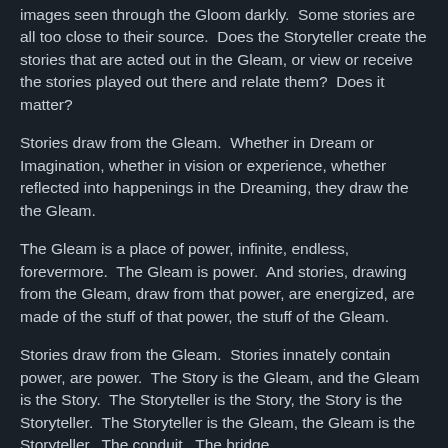images seen through the Gloom darkly.  Some stories are all too close to their source.  Does the Storyteller create the stories that are acted out in the Gleam, or view or receive the stories played out there and relate them?  Does it matter?
Stories draw from the Gleam.  Whether in Dream or Imagination, whether in vision or experience, whether reflected into happenings in the Dreaming, they draw the the Gleam.
The Gleam is a place of power, infinite, endless, forevermore.  The Gleam is power.  And stories, drawing from the Gleam, draw from that power, are energized, are made of the stuff of that power, the stuff of the Gleam.
Stories draw from the Gleam.  Stories innately contain power, are power.  The Story is the Gleam, and the Gleam is the Story.  The Storyteller is the Story, the Story is the Storyteller.  The Storyteller is the Gleam, the Gleam is the Storyteller.  The conduit.  The bridge.
Stories draw from the Gleam.  The Storyteller takes those stories, births them.  Tales are birthed, brought forth...